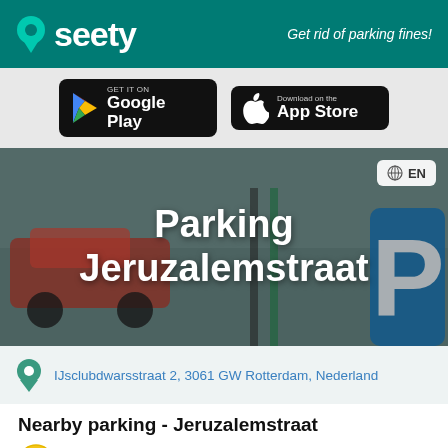seety — Get rid of parking fines!
[Figure (logo): GET IT ON Google Play button]
[Figure (logo): Download on the App Store button]
[Figure (photo): Hero image of a parking area with a red car and a blue parking sign, overlaid with text: Parking Jeruzalemstraat and EN language selector]
IJsclubdwarsstraat 2, 3061 GW Rotterdam, Nederland
Nearby parking - Jeruzalemstraat
On-street parking: paid - yellow zone 1 -